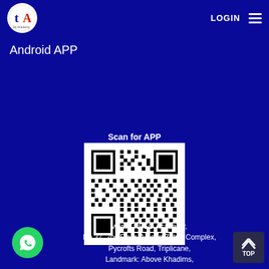[Figure (logo): TA TNPSC Academy circular logo with red and blue lettering on white background]
LOGIN
[Figure (other): Hamburger menu icon (three horizontal lines)]
Android APP
Scan for APP
[Figure (other): QR code for downloading the TNPSC Academy Android app]
www.TNPSC.Academy,
No.37, 2nd Floor, Ameen Zohra Complex,
Pycrofts Road, Triplicane,
Landmark: Above Khadims,
[Figure (other): WhatsApp contact button (green circle with phone icon)]
[Figure (other): TOP scroll-to-top button (dark background with up chevron)]